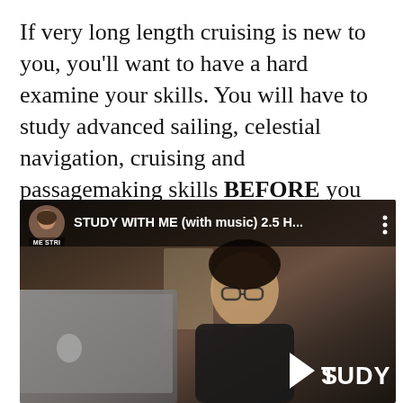If very long length cruising is new to you, you'll want to have a hard examine your skills. You will have to study advanced sailing, celestial navigation, cruising and passagemaking skills BEFORE you Forged off.
[Figure (screenshot): YouTube video thumbnail showing a woman with glasses studying at a laptop. The video is titled 'STUDY WITH ME (with music) 2.5 H...' with a play button overlay showing 'STUDY WITH ME'. The channel name shown is 'ME STRI' (partially visible).]